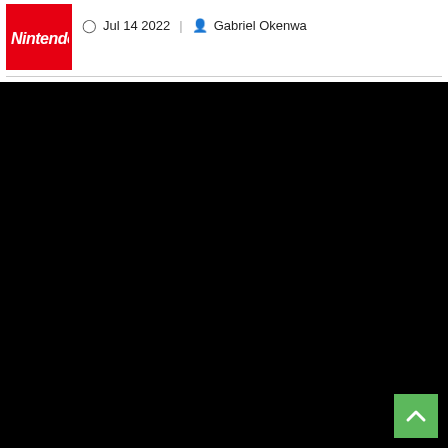[Figure (logo): Nintendo logo in red box with white italic text]
Jul 14 2022  |  Gabriel Okenwa
[Figure (photo): Large black image area occupying most of the page below the header]
[Figure (other): Green back-to-top button with upward chevron in bottom-right corner]